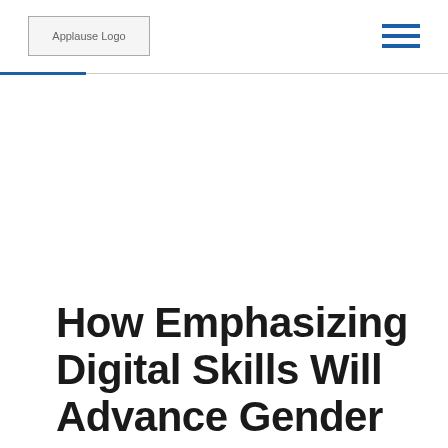Applause Logo
How Emphasizing Digital Skills Will Advance Gender